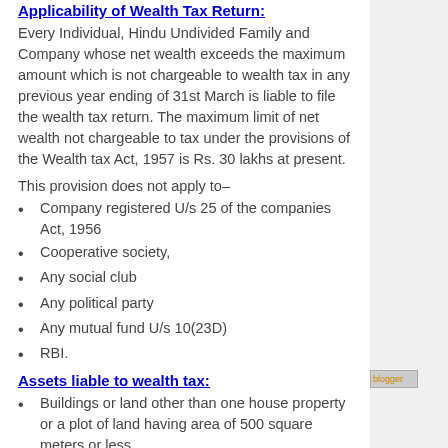Applicability of Wealth Tax Return:
Every Individual, Hindu Undivided Family and Company whose net wealth exceeds the maximum amount which is not chargeable to wealth tax in any previous year ending of 31st March is liable to file the wealth tax return. The maximum limit of net wealth not chargeable to tax under the provisions of the Wealth tax Act, 1957 is Rs. 30 lakhs at present.
This provision does not apply to–
Company registered U/s 25 of the companies Act, 1956
Cooperative society,
Any social club
Any political party
Any mutual fund U/s 10(23D)
RBI.
Assets liable to wealth tax:
Buildings or land other than one house property or a plot of land having area of 500 square meters or less.
Motor Cars, Yachts, boats and aircrafts.